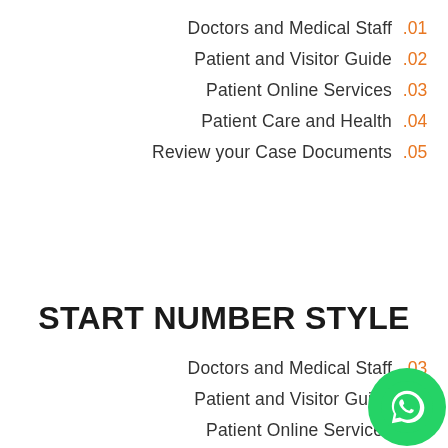Doctors and Medical Staff .01
Patient and Visitor Guide .02
Patient Online Services .03
Patient Care and Health .04
Review your Case Documents .05
START NUMBER STYLE
Doctors and Medical Staff .03
Patient and Visitor Guide
Patient Online Services